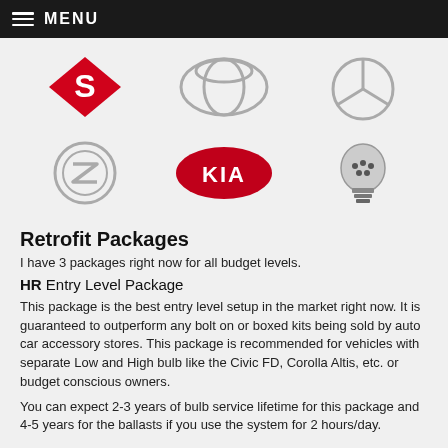MENU
[Figure (logo): Row of car brand logos: Suzuki (red diamond), Toyota (silver overlapping ovals), Mercedes-Benz (silver three-pointed star in circle)]
[Figure (logo): Row of logos: Opel (silver lightning bolt circle), KIA (red oval with white KIA text), LED bulb product image]
Retrofit Packages
I have 3 packages right now for all budget levels.
HR Entry Level Package
This package is the best entry level setup in the market right now. It is guaranteed to outperform any bolt on or boxed kits being sold by auto car accessory stores. This package is recommended for vehicles with separate Low and High bulb like the Civic FD, Corolla Altis, etc. or budget conscious owners.
You can expect 2-3 years of bulb service lifetime for this package and 4-5 years for the ballasts if you use the system for 2 hours/day.